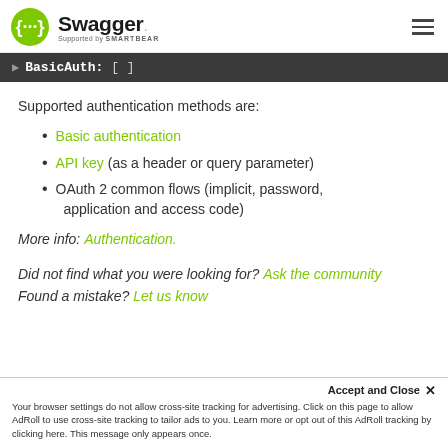Swagger. Supported by SMARTBEAR
[Figure (screenshot): Dark bar showing BasicAuth: []]
Supported authentication methods are:
Basic authentication
API key (as a header or query parameter)
OAuth 2 common flows (implicit, password, application and access code)
More info: Authentication.
Did not find what you were looking for? Ask the community
Found a mistake? Let us know
Accept and Close ×
Your browser settings do not allow cross-site tracking for advertising. Click on this page to allow AdRoll to use cross-site tracking to tailor ads to you. Learn more or opt out of this AdRoll tracking by clicking here. This message only appears once.